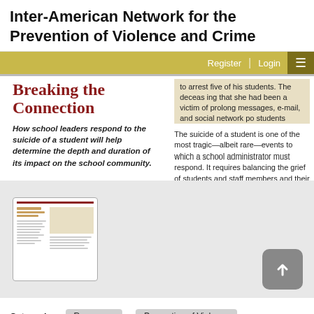Inter-American Network for the Prevention of Violence and Crime
[Figure (screenshot): Navigation bar with gold/yellow background showing Register and Login links and hamburger menu icon]
Breaking the Connection
to arrest five of his students. The deceased ing that she had been a victim of prolong messages, e-mail, and social network po students facing arrest. Now what?
How school leaders respond to the suicide of a student will help determine the depth and duration of its impact on the school community.
The suicide of a student is one of the most tragic—albeit rare—events to which a school administrator must respond. It requires balancing the grief of students and staff members and their desire to remember the deceased with the risks of contagion that can result from paying a suicide too much attention. The challenges
[Figure (screenshot): Thumbnail preview image of a document with a red line header and beige/tan content block]
[Figure (other): Gray rounded square upload/scroll-to-top button with upward arrow icon]
Categories:
Resources
Prevention of Violence